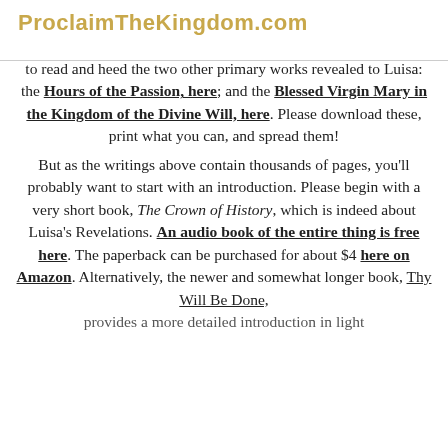ProclaimTheKingdom.com
to read and heed the two other primary works revealed to Luisa: the Hours of the Passion, here; and the Blessed Virgin Mary in the Kingdom of the Divine Will, here. Please download these, print what you can, and spread them!
But as the writings above contain thousands of pages, you'll probably want to start with an introduction. Please begin with a very short book, The Crown of History, which is indeed about Luisa's Revelations. An audio book of the entire thing is free here. The paperback can be purchased for about $4 here on Amazon. Alternatively, the newer and somewhat longer book, Thy Will Be Done, provides a more detailed introduction in light